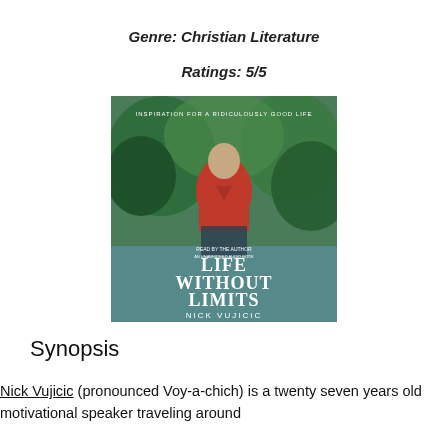Genre: Christian Literature
Ratings: 5/5
[Figure (photo): Book cover of 'Life Without Limits' by Nick Vujicic. Shows a man sitting outdoors near water with green trees in background. Text on cover reads 'INSPIRATION FOR A RIDICULOUSLY GOOD LIFE', 'LIFE WITHOUT LIMITS', 'READ BY THE AUTHOR', 'NICK VUJICIC'.]
Synopsis
Nick Vujicic (pronounced Voy-a-chich) is a twenty seven years old motivational speaker traveling around